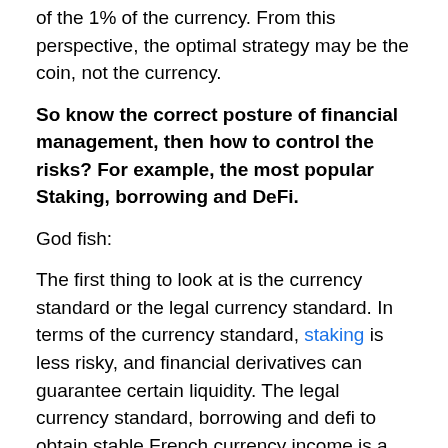of the 1% of the currency. From this perspective, the optimal strategy may be the coin, not the currency.
So know the correct posture of financial management, then how to control the risks? For example, the most popular Staking, borrowing and DeFi.
God fish:
The first thing to look at is the currency standard or the legal currency standard. In terms of the currency standard, staking is less risky, and financial derivatives can guarantee certain liquidity. The legal currency standard, borrowing and defi to obtain stable French currency income is a good direction.
Zhao Dong:
Any financial management project can't avoid the problem